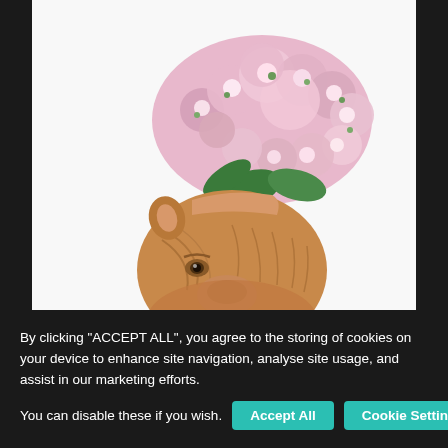[Figure (photo): A ceramic animal head vase (lion or bear) with pink hydrangea flowers arranged coming out of the top, photographed against a white background with dark side borders.]
By clicking "ACCEPT ALL", you agree to the storing of cookies on your device to enhance site navigation, analyse site usage, and assist in our marketing efforts. You can disable these if you wish.
Accept All
Cookie Settings